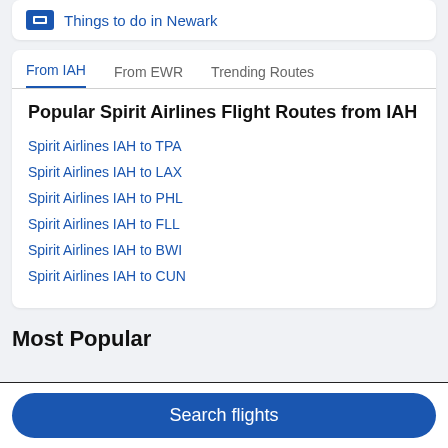Things to do in Newark
Popular Spirit Airlines Flight Routes from IAH
Spirit Airlines IAH to TPA
Spirit Airlines IAH to LAX
Spirit Airlines IAH to PHL
Spirit Airlines IAH to FLL
Spirit Airlines IAH to BWI
Spirit Airlines IAH to CUN
Most Popular
Search flights